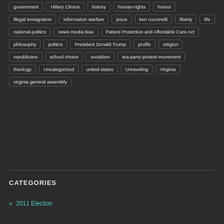government
Hillary Clinton
history
human-rights
humor
illegal immigration
information warfare
jesus
ken cuccinelli
liberty
life
national-politics
news media bias
Patient Protection and Affordable Care Act
philosophy
politics
President Donald Trump
prolife
religion
republicans
school choice
socialism
tea-party-protest-movement
theology
Uncategorized
united-states
Unraveling
Virginia
virginia general assembly
CATEGORIES
» 2011 Election